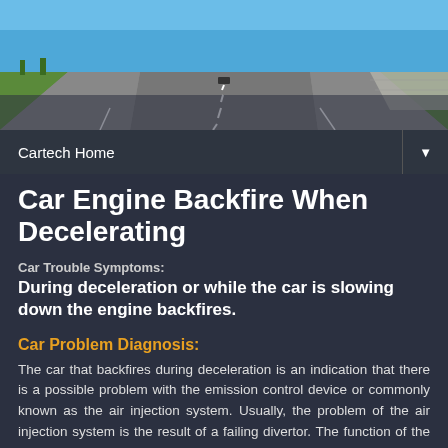[Figure (photo): A highway road photo taken from inside a car, showing a straight road with lane markings, green fields on both sides, blue sky, and a concrete barrier on the right side.]
Cartech Home ▼
Car Engine Backfire When Decelerating
Car Trouble Symptoms:
During deceleration or while the car is slowing down the engine backfires.
Car Problem Diagnosis:
The car that backfires during deceleration is an indication that there is a possible problem with the emission control device or commonly known as the air injection system. Usually, the problem of the air injection system is the result of a failing divertor. The function of the air injection system is